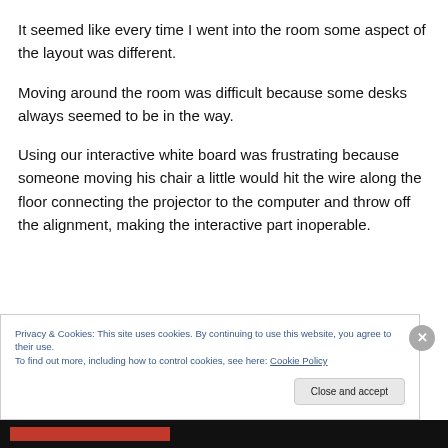It seemed like every time I went into the room some aspect of the layout was different.
Moving around the room was difficult because some desks always seemed to be in the way.
Using our interactive white board was frustrating because someone moving his chair a little would hit the wire along the floor connecting the projector to the computer and throw off the alignment, making the interactive part inoperable.
Privacy & Cookies: This site uses cookies. By continuing to use this website, you agree to their use.
To find out more, including how to control cookies, see here: Cookie Policy